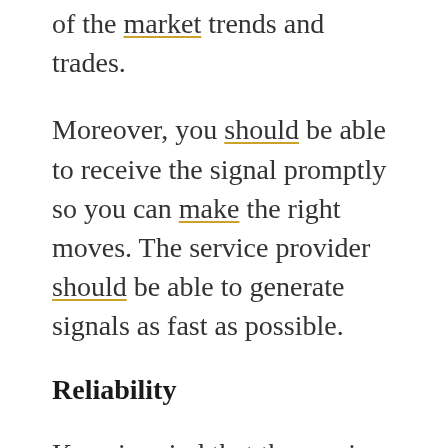of the market trends and trades.
Moreover, you should be able to receive the signal promptly so you can make the right moves. The service provider should be able to generate signals as fast as possible.
Reliability
Keep in mind that the service should be reliable as you are going to make your trade decisions based on their guidance. Hence, you might want to opt for a service that you can depend on. This is the only way to make the right choice and be on the safe side.
What you need to do is hire the services of a provider who is legitimate. You are going to